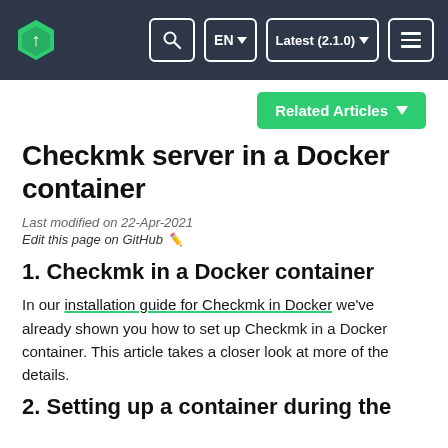Checkmk documentation navigation bar with logo, search, language selector EN, version Latest (2.1.0), and menu buttons
Related Articles
Checkmk server in a Docker container
Last modified on 22-Apr-2021
Edit this page on GitHub ✏️
1. Checkmk in a Docker container
In our installation guide for Checkmk in Docker we've already shown you how to set up Checkmk in a Docker container. This article takes a closer look at more of the details.
2. Setting up a container during the